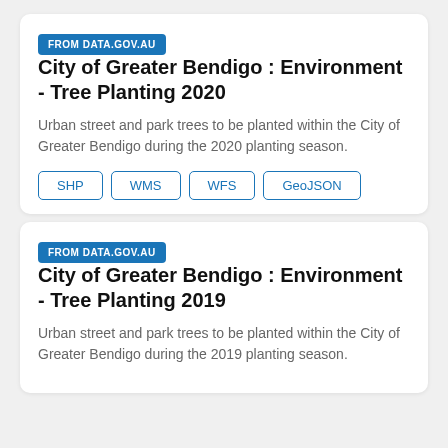FROM DATA.GOV.AU   City of Greater Bendigo : Environment - Tree Planting 2020
Urban street and park trees to be planted within the City of Greater Bendigo during the 2020 planting season.
SHP
WMS
WFS
GeoJSON
FROM DATA.GOV.AU   City of Greater Bendigo : Environment - Tree Planting 2019
Urban street and park trees to be planted within the City of Greater Bendigo during the 2019 planting season.